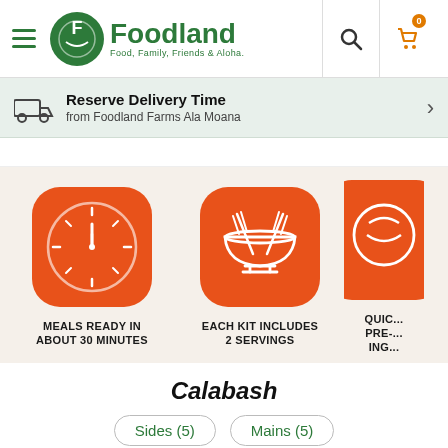Foodland — Food, Family, Friends & Aloha
Reserve Delivery Time from Foodland Farms Ala Moana
[Figure (infographic): Three feature icons on orange rounded-square backgrounds: 1) Clock icon labeled MEALS READY IN ABOUT 30 MINUTES, 2) Mixing bowl with utensils labeled EACH KIT INCLUDES 2 SERVINGS, 3) Partially visible third icon (QUIC... PRE-... ING...)]
Calabash
Sides (5)   Mains (5)